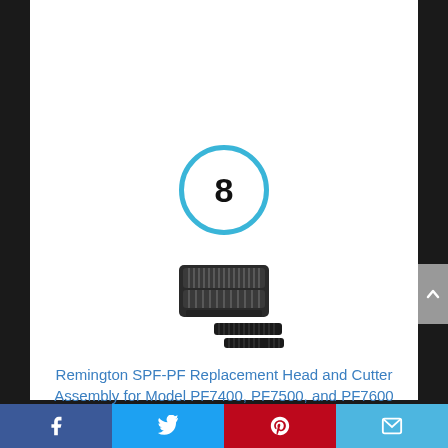[Figure (other): Number 8 inside a blue circle ring]
[Figure (photo): Remington SPF-PF replacement head and cutter assembly product photo showing foil shaver head components]
Remington SPF-PF Replacement Head and Cutter Assembly for Model PF7400, PF7500, and PF7600 Foil Shavers